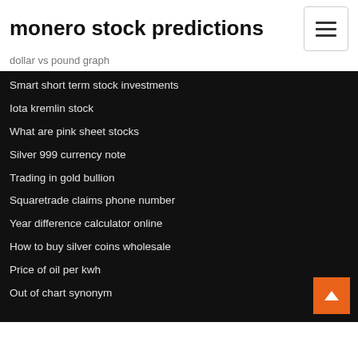monero stock predictions
dollar vs pound graph
Smart short term stock investments
Iota kremlin stock
What are pink sheet stocks
Silver 999 currency note
Trading in gold bullion
Squaretrade claims phone number
Year difference calculator online
How to buy silver coins wholesale
Price of oil per kwh
Out of chart synonym